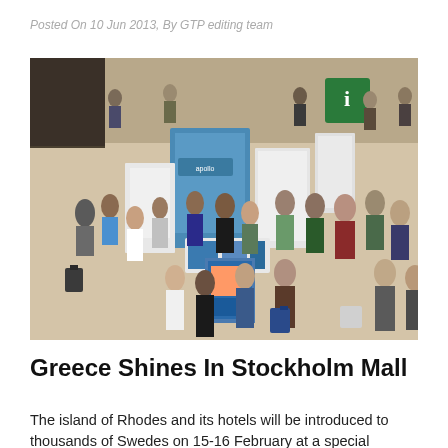Posted On 10 Jun 2013, By GTP editing team
[Figure (photo): Aerial view of a travel exhibition or tourism fair inside a shopping mall, showing multiple white display stands with Greek tourism branding (including 'Apollo' signage), brochures, and crowds of visitors browsing the exhibits.]
Greece Shines In Stockholm Mall
The island of Rhodes and its hotels will be introduced to thousands of Swedes on 15-16 February at a special